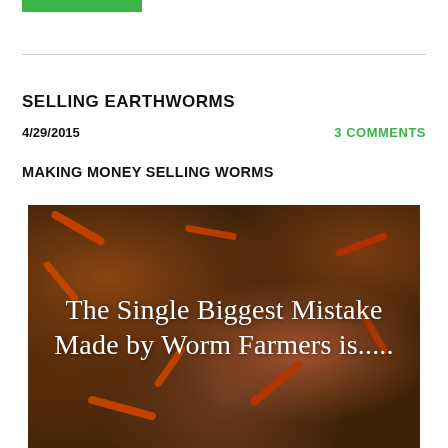SELLING EARTHWORMS
4/29/2015
3 COMMENTS
MAKING MONEY SELLING WORMS
[Figure (photo): Photo of earthworms in dark soil with overlaid white text reading: The Single Biggest Mistake Made by Worm Farmers is.....]